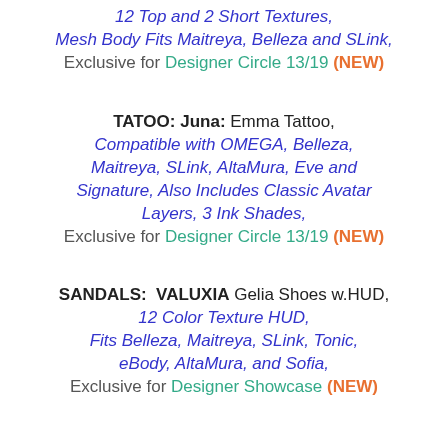12 Top and 2 Short Textures, Mesh Body Fits Maitreya, Belleza and SLink, Exclusive for Designer Circle 13/19 (NEW)
TATOO: Juna: Emma Tattoo, Compatible with OMEGA, Belleza, Maitreya, SLink, AltaMura, Eve and Signature, Also Includes Classic Avatar Layers, 3 Ink Shades, Exclusive for Designer Circle 13/19 (NEW)
SANDALS: VALUXIA Gelia Shoes w.HUD, 12 Color Texture HUD, Fits Belleza, Maitreya, SLink, Tonic, eBody, AltaMura, and Sofia, Exclusive for Designer Showcase (NEW)